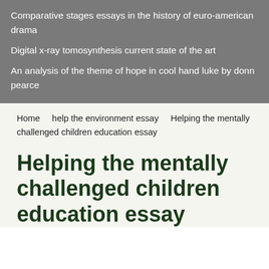Comparative stages essays in the history of euro-american drama
Digital x-ray tomosynthesis current state of the art
An analysis of the theme of hope in cool hand luke by donn pearce
Home    help the environment essay    Helping the mentally challenged children education essay
Helping the mentally challenged children education essay